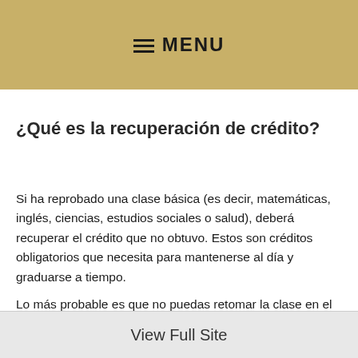≡ MENU
¿Qué es la recuperación de crédito?
Si ha reprobado una clase básica (es decir, matemáticas, inglés, ciencias, estudios sociales o salud), deberá recuperar el crédito que no obtuvo. Estos son créditos obligatorios que necesita para mantenerse al día y graduarse a tiempo.
Lo más probable es que no puedas retomar la clase en el salón de clases. La recuperación de crédito es su opción para recuperar el crédito y mantenerse al día para graduarse. Recuperar el crédito antes permite la flexibilidad en su horario para tomar otras clases y explorar intereses/caminos profesionales.
View Full Site